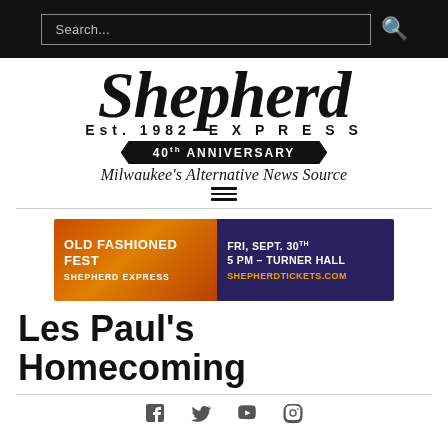Search...
[Figure (logo): Shepherd Express logo — 'Shepherd' in large italic bold serif, 'Est. 1982 EXPRESS' in spaced caps, '40th ANNIVERSARY' on black banner ribbon, 'Milwaukee's Alternative News Source' italic tagline]
[Figure (infographic): Old Fashioned Fest advertisement banner — left side orange gradient with 'OLD FASHIONED FEST / SHEPHERD EXPRESS', right side dark blue with 'FRI, SEPT. 30TH / 5 PM – TURNER HALL / SHEPHERDTICKETS.COM']
Les Paul's Homecoming
Social icons: Facebook, Twitter, YouTube, Instagram